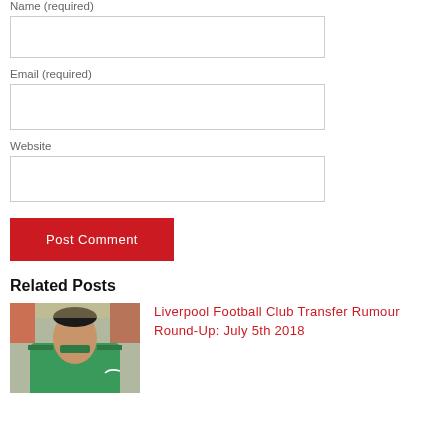Name (required)
Email (required)
Website
Post Comment
Related Posts
[Figure (photo): Photo of a footballer in a green jersey]
Liverpool Football Club Transfer Rumour Round-Up: July 5th 2018